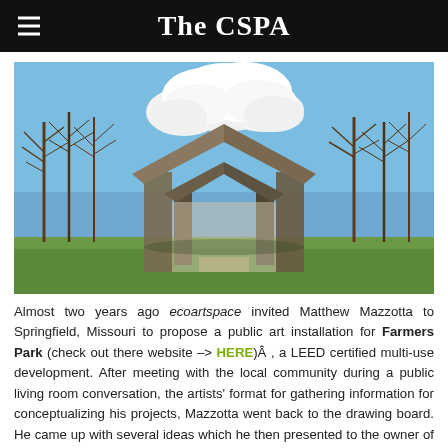The CSPA
[Figure (photo): Outdoor architectural sculpture resembling a house frame or chapel structure made of concrete/wood, with a large white cloud-shaped form rising above the open roofline. The sculpture is set in a park with bare trees and blue sky.]
Almost two years ago ecoartspace invited Matthew Mazzotta to Springfield, Missouri to propose a public art installation for Farmers Park (check out there website --> HERE)Â , a LEED certified multi-use development. After meeting with the local community during a public living room conversation, the artists' format for gathering information for conceptualizing his projects, Mazzotta went back to the drawing board. He came up with several ideas which he then presented to the owner of the